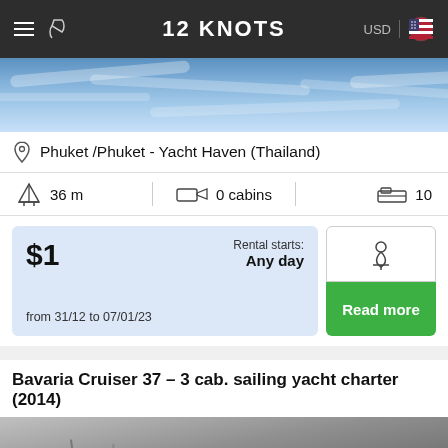12 KNOTS
[Figure (photo): Water/sea surface with light reflections]
Phuket /Phuket - Yacht Haven (Thailand)
36 m  |  0 cabins  |  10
$1
Rental starts: Any day
from 31/12 to 07/01/23
Read more
Bavaria Cruiser 37 – 3 cab. sailing yacht charter (2014)
[Figure (photo): Sailing yachts in a marina, masts visible]